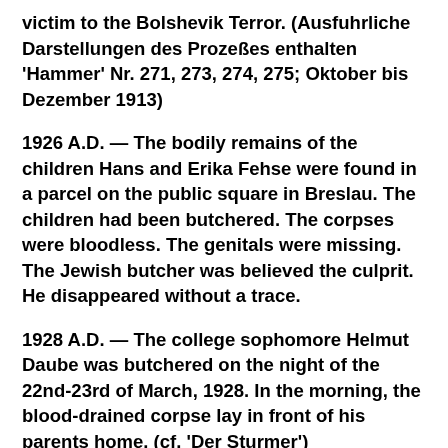victim to the Bolshevik Terror. (Ausfuhrliche Darstellungen des Prozeßes enthalten 'Hammer' Nr. 271, 273, 274, 275; Oktober bis Dezember 1913)
1926 A.D. — The bodily remains of the children Hans and Erika Fehse were found in a parcel on the public square in Breslau. The children had been butchered. The corpses were bloodless. The genitals were missing. The Jewish butcher was believed the culprit. He disappeared without a trace.
1928 A.D. — The college sophomore Helmut Daube was butchered on the night of the 22nd-23rd of March, 1928. In the morning, the blood-drained corpse lay in front of his parents home. (cf. 'Der Sturmer')
1929 A.D. — The murder at Manau. The boy